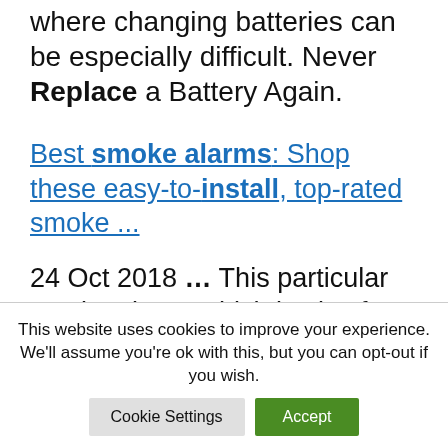where changing batteries can be especially difficult. Never Replace a Battery Again.
Best smoke alarms: Shop these easy-to-install, top-rated smoke ...
24 Oct 2018 ... This particular smoke alarm, which is also from First Alert, is the No. 1 best-selling product within Amazon's Smoke Detectors and Fire Alarms ...
This website uses cookies to improve your experience. We'll assume you're ok with this, but you can opt-out if you wish.